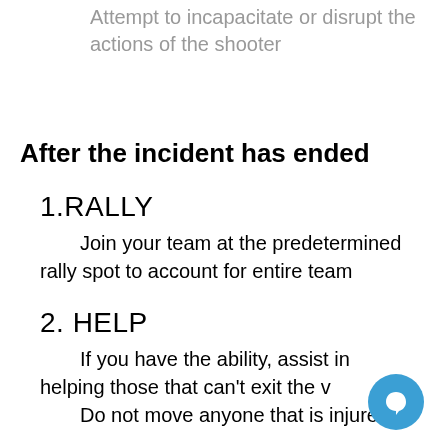Attempt to incapacitate or disrupt the actions of the shooter
After the incident has ended
1. RALLY
      Join your team at the predetermined rally spot to account for entire team
2. HELP
      If you have the ability, assist in helping those that can't exit the v...
      Do not move anyone that is injured